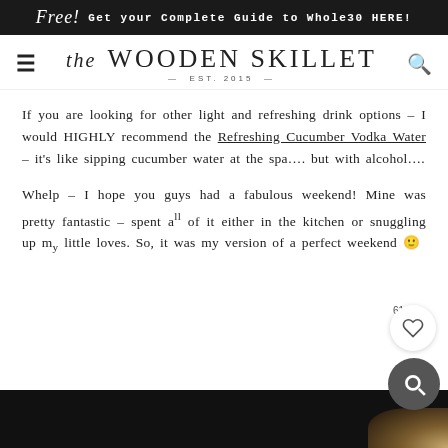Free! Get your Complete Guide to Whole30 HERE!
The Wooden Skillet EST. 2015
If you are looking for other light and refreshing drink options – I would HIGHLY recommend the Refreshing Cucumber Vodka Water – it's like sipping cucumber water at the spa…. but with alcohol….
Whelp – I hope you guys had a fabulous weekend! Mine was pretty fantastic – spent a lot of it either in the kitchen or snuggling up my little loves. So, it was my version of a perfect weekend 🙂
[Figure (photo): Dark background with a partial view of food/drink item in the bottom right corner]